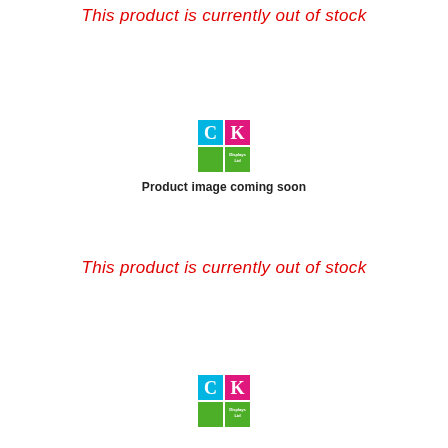This product is currently out of stock
[Figure (logo): CK Displays Ltd logo — four quadrants: top-left cyan with white C, top-right magenta/pink with white K, bottom-left green, bottom-right green with small white text 'Displays Ltd']
Product image coming soon
This product is currently out of stock
[Figure (logo): CK Displays Ltd logo — four quadrants: top-left cyan with white C, top-right magenta/pink with white K, bottom-left green, bottom-right green with small white text 'Displays Ltd']